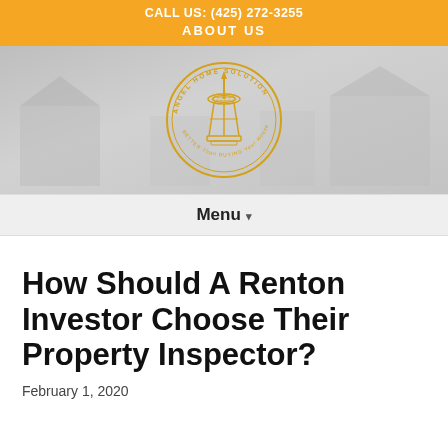CALL US: (425) 272-3255 ABOUT US
[Figure (logo): Angel Home Solution circular logo with Space Needle illustration and text 'BETTER Than BUYING Your House Fast']
Menu ▾
How Should A Renton Investor Choose Their Property Inspector?
February 1, 2020